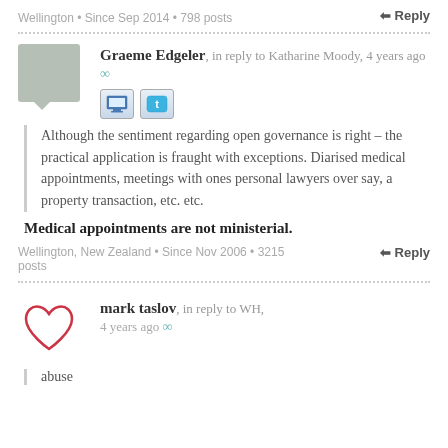Wellington • Since Sep 2014 • 798 posts
↩ Reply
Graeme Edgeler, in reply to Katharine Moody, 4 years ago ∞
Although the sentiment regarding open governance is right – the practical application is fraught with exceptions. Diarised medical appointments, meetings with ones personal lawyers over say, a property transaction, etc. etc.
Medical appointments are not ministerial.
Wellington, New Zealand • Since Nov 2006 • 3215 posts
↩ Reply
mark taslov, in reply to WH, 4 years ago ∞
abuse